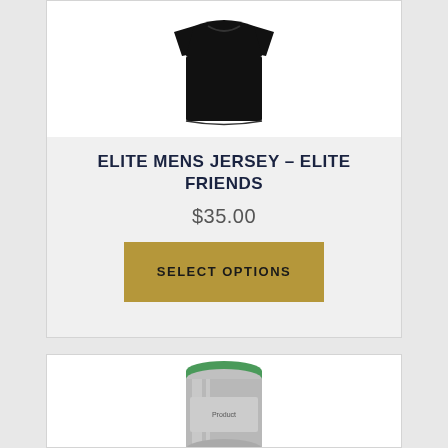[Figure (photo): Black sleeveless jersey/shirt product photo on white background]
ELITE MENS JERSEY – ELITE FRIENDS
$35.00
SELECT OPTIONS
[Figure (photo): Metallic/silver product (appears to be a canister or bottle with green cap) on white background, partially visible]